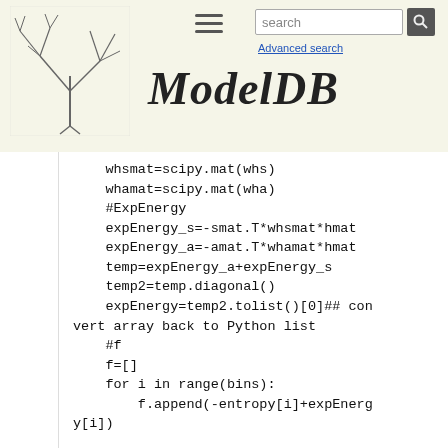ModelDB — Advanced search
whsmat=scipy.mat(whs)
    whamat=scipy.mat(wha)
    #ExpEnergy
    expEnergy_s=-smat.T*whsmat*hmat
    expEnergy_a=-amat.T*whamat*hmat
    temp=expEnergy_a+expEnergy_s
    temp2=temp.diagonal()
    expEnergy=temp2.tolist()[0]## convert array back to Python list
    #f
    f=[]
    for i in range(bins):
        f.append(-entropy[i]+expEnergy[i])

    #FreeEnergy
    for i in range(bins):
        if i==0:
            freeEnergy_t=[f[0]]
        else: